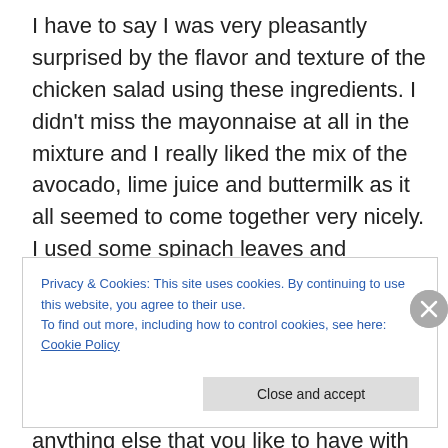I have to say I was very pleasantly surprised by the flavor and texture of the chicken salad using these ingredients. I didn't miss the mayonnaise at all in the mixture and I really liked the mix of the avocado, lime juice and buttermilk as it all seemed to come together very nicely. I used some spinach leaves and tomatoes to finish off the sandwich, but you could really add just about anything you want to this one to make it special – Romaine lettuce, Bibb lettuce, sliced red onion, pickles, some slices of bacon or anything else that you like to have with your chicken salad. I had
Privacy & Cookies: This site uses cookies. By continuing to use this website, you agree to their use.
To find out more, including how to control cookies, see here: Cookie Policy
Close and accept